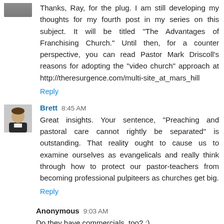Thanks, Ray, for the plug. I am still developing my thoughts for my fourth post in my series on this subject. It will be titled "The Advantages of Franchising Church." Until then, for a counter perspective, you can read Pastor Mark Driscoll's reasons for adopting the "video church" approach at http://theresurgence.com/multi-site_at_mars_hill
Reply
Brett 8:45 AM
Great insights. Your sentence, "Preaching and pastoral care cannot rightly be separated" is outstanding. That reality ought to cause us to examine ourselves as evangelicals and really think through how to protect our pastor-teachers from becoming professional pulpiteers as churches get big.
Reply
Anonymous 9:03 AM
Do they have commercials, too? ;)